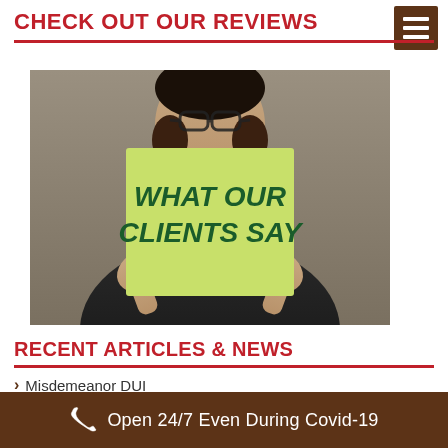CHECK OUT OUR REVIEWS
[Figure (photo): Person holding a yellow-green sticky note reading 'WHAT OUR CLIENTS SAY' in bold dark green text, face partially obscured by the note]
RECENT ARTICLES & NEWS
Misdemeanor DUI
Open 24/7 Even During Covid-19